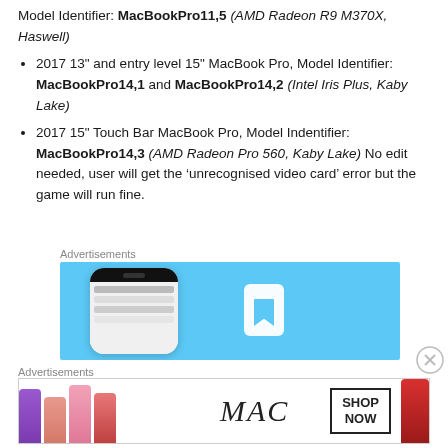Model Identifier: MacBookPro11,5 (AMD Radeon R9 M370X, Haswell)
2017 13" and entry level 15" MacBook Pro, Model Identifier: MacBookPro14,1 and MacBookPro14,2 (Intel Iris Plus, Kaby Lake)
2017 15" Touch Bar MacBook Pro, Model Indentifier: MacBookPro14,3 (AMD Radeon Pro 560, Kaby Lake) No edit needed, user will get the ‘unrecognised video card’ error but the game will run fine.
Advertisements
[Figure (photo): Advertisement banner with light blue background showing a phone mockup and bookmark app icon]
Advertisements
[Figure (photo): MAC cosmetics advertisement showing lipsticks and SHOP NOW button]